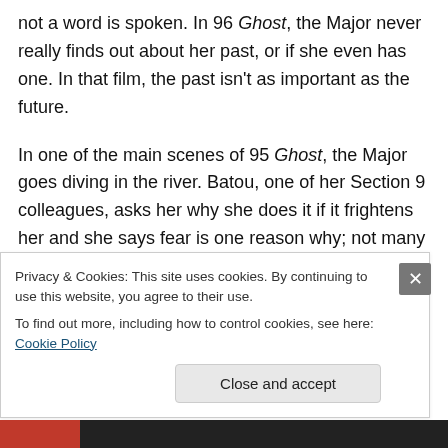not a word is spoken. In 96 Ghost, the Major never really finds out about her past, or if she even has one. In that film, the past isn't as important as the future.
In one of the main scenes of 95 Ghost, the Major goes diving in the river. Batou, one of her Section 9 colleagues, asks her why she does it if it frightens her and she says fear is one reason why; not many things can scare a cyborg. They get philosophical, and at one point he Major speaks in an odd voice. The scene is in 17 Ghost, but bereft of philosophy from the secondary voice. The
Privacy & Cookies: This site uses cookies. By continuing to use this website, you agree to their use.
To find out more, including how to control cookies, see here: Cookie Policy
Close and accept